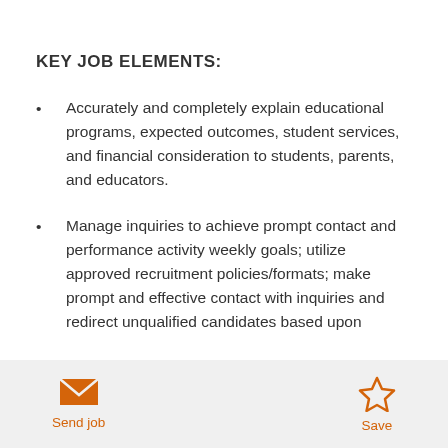KEY JOB ELEMENTS:
Accurately and completely explain educational programs, expected outcomes, student services, and financial consideration to students, parents, and educators.
Manage inquiries to achieve prompt contact and performance activity weekly goals; utilize approved recruitment policies/formats; make prompt and effective contact with inquiries and redirect unqualified candidates based upon
Send job   Save